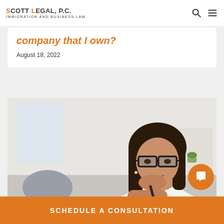SCOTT LEGAL, P.C. IMMIGRATION AND BUSINESS LAW
company that I own?
August 18, 2022
[Figure (photo): Woman with dark hair and glasses sitting at a desk, resting her chin on her hand and holding a pen, in an office environment]
SCHEDULE A CONSULTATION